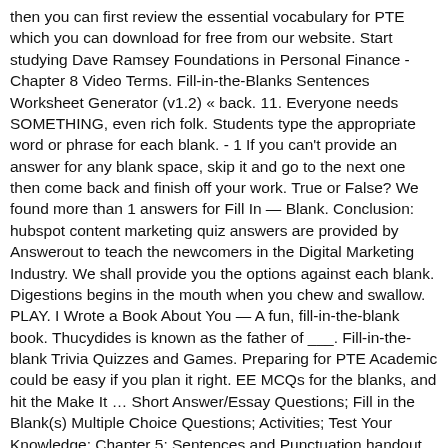then you can first review the essential vocabulary for PTE which you can download for free from our website. Start studying Dave Ramsey Foundations in Personal Finance - Chapter 8 Video Terms. Fill-in-the-Blanks Sentences Worksheet Generator (v1.2) « back. 11. Everyone needs SOMETHING, even rich folk. Students type the appropriate word or phrase for each blank. - 1 If you can't provide an answer for any blank space, skip it and go to the next one then come back and finish off your work. True or False? We found more than 1 answers for Fill In — Blank. Conclusion: hubspot content marketing quiz answers are provided by Answerout to teach the newcomers in the Digital Marketing Industry. We shall provide you the options against each blank. Digestions begins in the mouth when you chew and swallow. PLAY. I Wrote a Book About You — A fun, fill-in-the-blank book. Thucydides is known as the father of ___. Fill-in-the-blank Trivia Quizzes and Games. Preparing for PTE Academic could be easy if you plan it right. EE MCQs for the blanks, and hit the Make It … Short Answer/Essay Questions; Fill in the Blank(s) Multiple Choice Questions; Activities; Test Your Knowledge; Chapter 5: Sentences and Punctuation handout in the PTE Academic Results